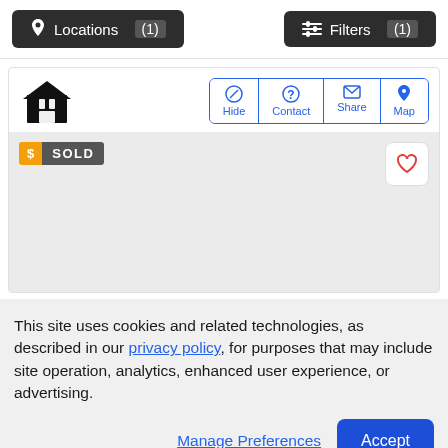Locations (1)  Filters (1)
[Figure (screenshot): Listing card with house icon and action buttons (Hide, Contact, Share, Map) and a sold property image area with SOLD badge and heart button]
This site uses cookies and related technologies, as described in our privacy policy, for purposes that may include site operation, analytics, enhanced user experience, or advertising.
Manage Preferences  Accept